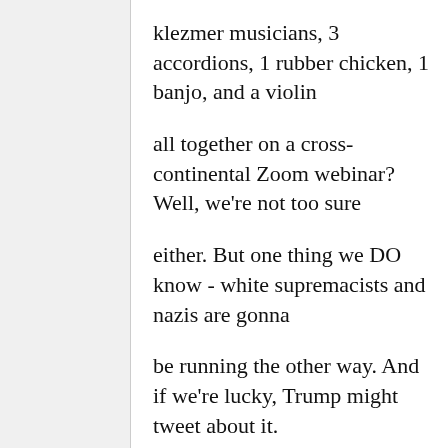klezmer musicians, 3 accordions, 1 rubber chicken, 1 banjo, and a violin
all together on a cross-continental Zoom webinar? Well, we're not too sure
either. But one thing we DO know - white supremacists and nazis are gonna
be running the other way. And if we're lucky, Trump might tweet about it.